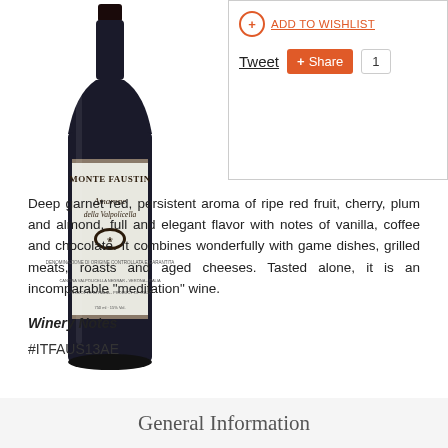[Figure (photo): A bottle of Monte Faustino Amarone della Valpolicella red wine with a white label and dark glass bottle.]
Tweet  Share  1
Deep garnet red, persistent aroma of ripe red fruit, cherry, plum and almond, full and elegant flavor with notes of vanilla, coffee and chocolate. It combines wonderfully with game dishes, grilled meats, roasts and aged cheeses. Tasted alone, it is an incomparable "meditation" wine.
Winery Notes
#ITFAUS13AE
General Information